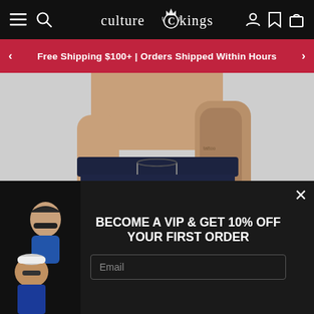culture kings — navigation bar with hamburger menu, search, logo, profile, wishlist, cart icons
Free Shipping $100+ | Orders Shipped Within Hours
[Figure (photo): Shirtless male model wearing navy blue jogger sweatpants with Allen Iverson 'The Answer' graphic print on left leg, light grey background]
BECOME A VIP & GET 10% OFF YOUR FIRST ORDER
[Figure (photo): Two young people posing: a woman with sunglasses and a man in blue streetwear hoodie]
Email